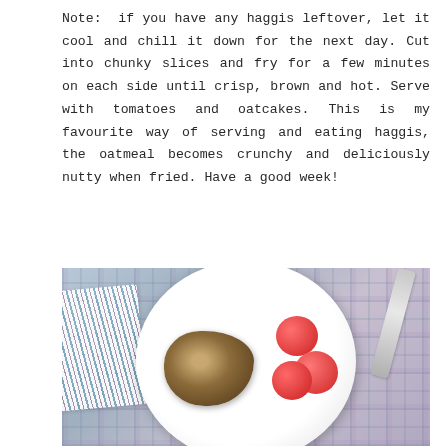Note: if you have any haggis leftover, let it cool and chill it down for the next day. Cut into chunky slices and fry for a few minutes on each side until crisp, brown and hot. Serve with tomatoes and oatcakes. This is my favourite way of serving and eating haggis, the oatmeal becomes crunchy and deliciously nutty when fried. Have a good week!
[Figure (photo): Overhead photo of a white plate with fried haggis slices and halved cherry tomatoes, placed on a plaid fabric background with a striped napkin and fork visible.]